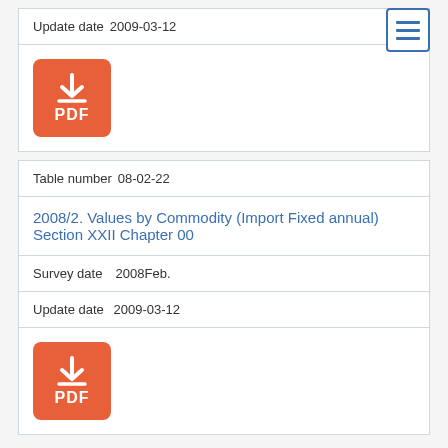Update date  2009-03-12
[Figure (other): PDF download button (orange rounded square with download arrow icon and PDF label)]
Table number  08-02-22
2008/2. Values by Commodity (Import Fixed annual) Section XXII Chapter 00
Survey date   2008Feb.
Update date  2009-03-12
[Figure (other): PDF download button (orange rounded square with download arrow icon and PDF label)]